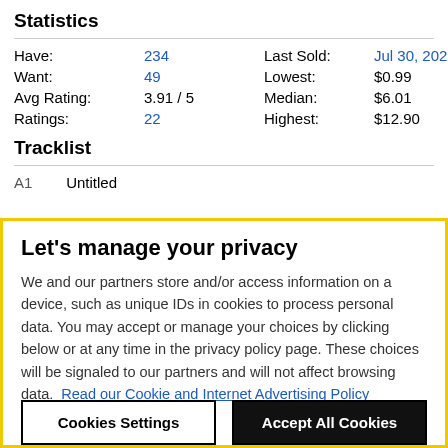Statistics
| Have: | 234 | Last Sold: | Jul 30, 2022 |
| Want: | 49 | Lowest: | $0.99 |
| Avg Rating: | 3.91 / 5 | Median: | $6.01 |
| Ratings: | 22 | Highest: | $12.90 |
Tracklist
A1    Untitled
Let's manage your privacy
We and our partners store and/or access information on a device, such as unique IDs in cookies to process personal data. You may accept or manage your choices by clicking below or at any time in the privacy policy page. These choices will be signaled to our partners and will not affect browsing data.  Read our Cookie and Internet Advertising Policy
Cookies Settings
Accept All Cookies